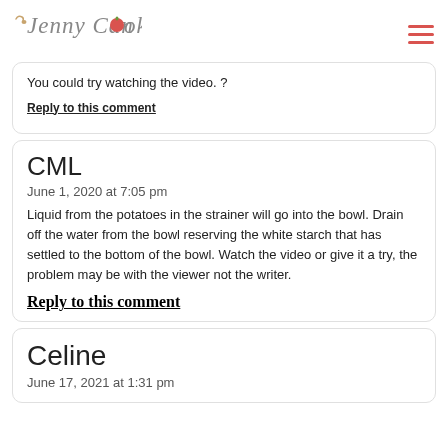Jenny Can Cook
You could try watching the video. ?
Reply to this comment
CML
June 1, 2020 at 7:05 pm
Liquid from the potatoes in the strainer will go into the bowl. Drain off the water from the bowl reserving the white starch that has settled to the bottom of the bowl. Watch the video or give it a try, the problem may be with the viewer not the writer.
Reply to this comment
Celine
June 17, 2021 at 1:31 pm